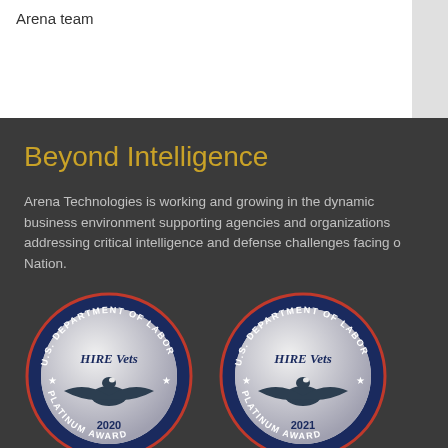Arena team
Beyond Intelligence
Arena Technologies is working and growing in the dynamic business environment supporting agencies and organizations addressing critical intelligence and defense challenges facing our Nation.
[Figure (logo): U.S. Department of Labor HIRE Vets 2020 Platinum Award medallion badge]
[Figure (logo): U.S. Department of Labor HIRE Vets 2021 Platinum Award medallion badge]